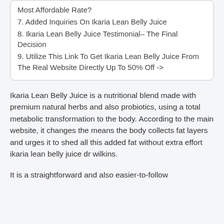Most Affordable Rate?
7. Added Inquiries On Ikaria Lean Belly Juice
8. Ikaria Lean Belly Juice Testimonial– The Final Decision
9. Utilize This Link To Get Ikaria Lean Belly Juice From The Real Website Directly Up To 50% Off ->
Ikaria Lean Belly Juice is a nutritional blend made with premium natural herbs and also probiotics, using a total metabolic transformation to the body. According to the main website, it changes the means the body collects fat layers and urges it to shed all this added fat without extra effort ikaria lean belly juice dr wilkins.
It is a straightforward and also easier-to-follow